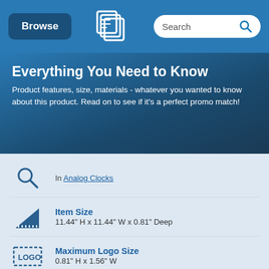Browse | [logo] | Search
Everything You Need to Know
Product features, size, materials - whatever you wanted to know about this product. Read on to see if it's a perfect promo match!
In Analog Clocks
Item Size
11.44" H x 11.44" W x 0.81" Deep
Maximum Logo Size
0.81" H x 1.56" W
Vector Artwork + Proofs
Free